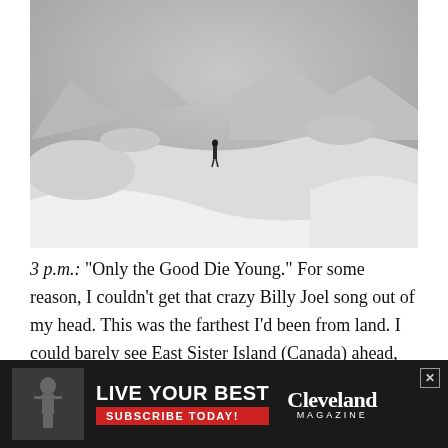[Figure (photo): Black and white photograph of a lone figure standing on a vast snowy, windswept landscape with mountains in the background and dramatic snow drifts in the foreground.]
3 p.m.: "Only the Good Die Young." For some reason, I couldn't get that crazy Billy Joel song out of my head. This was the farthest I'd been from land. I could barely see East Sister Island (Canada) ahead, but knew I wouldn't make it there by nightfall. The strong northwest wind was slowing my pace. The immensity of the lake
[Figure (infographic): Advertisement bar for Cleveland Magazine. Left side shows a black and white image of a statue/figure. Center shows bold text 'LIVE YOUR BEST' with red button 'SUBSCRIBE TODAY!'. Right shows 'Cleveland MAGAZINE' logo. Top-right has a close X button.]